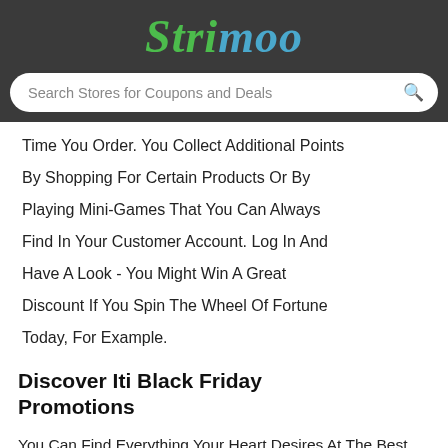Strimoo
Search Stores for Coupons and Deals
Time You Order. You Collect Additional Points By Shopping For Certain Products Or By Playing Mini-Games That You Can Always Find In Your Customer Account. Log In And Have A Look - You Might Win A Great Discount If You Spin The Wheel Of Fortune Today, For Example.
Discover Iti Black Friday Promotions
You Can Find Everything Your Heart Desires At The Best Prices At Iti All Year Round, But You Should Keep Your Eyes Open At The End Of November! Because Then The Black Friday Iti Promotions Start, Which Overshadow All